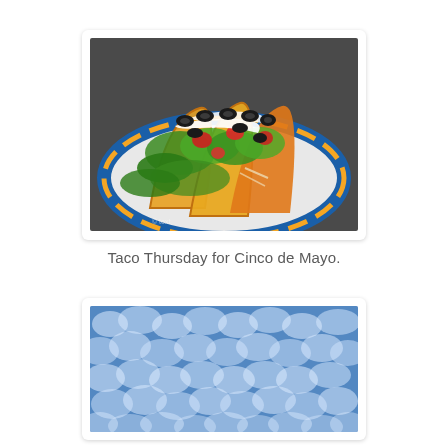[Figure (photo): Plate of tacos with toppings including black olives, shredded lettuce, tomatoes, and sour cream in a yellow taco shell, served on a colorful patterned plate.]
Taco Thursday for Cinco de Mayo.
[Figure (photo): Blue sky with white puffy clouds in a mackerel or altocumulus pattern, creating a dappled bokeh-like effect.]